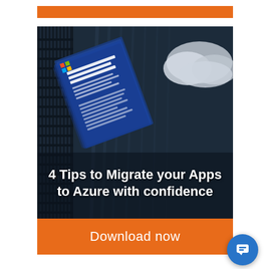[Figure (illustration): Orange banner/bar at top of advertisement]
[Figure (photo): Dark server room background with a blue book/guide titled 'Four Tips to Migrate Your On-Premise Applications to Microsoft Azure with Confidence' floating in center, and cloud imagery on the right side. Text overlay at bottom reads '4 Tips to Migrate your Apps to Azure with confidence' in bold white text.]
Download now